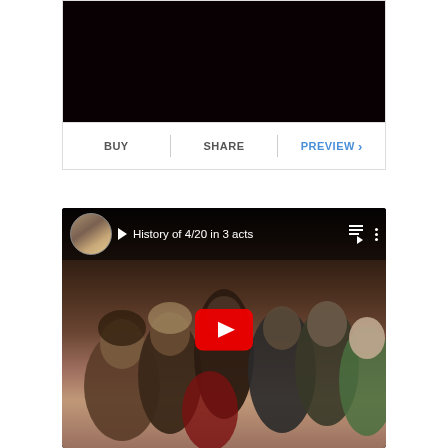[Figure (screenshot): Dark video thumbnail with BUY, SHARE, PREVIEW action bar below]
[Figure (screenshot): YouTube video thumbnail titled 'History of 4/20 in 3 acts' showing a group photo of people with a YouTube play button overlay]